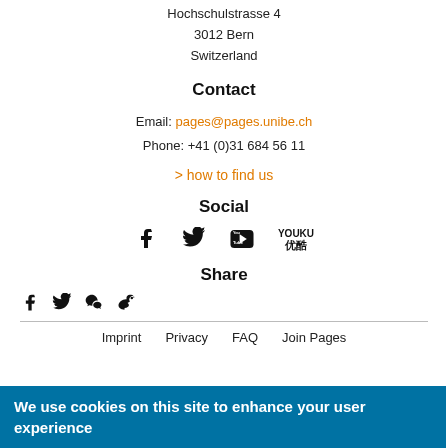Hochschulstrasse 4
3012 Bern
Switzerland
Contact
Email: pages@pages.unibe.ch
Phone: +41 (0)31 684 56 11
> how to find us
Social
[Figure (illustration): Social media icons: Facebook, Twitter, YouTube, Youku]
Share
[Figure (illustration): Share icons: Facebook, Twitter, WeChat, Weibo]
Imprint   Privacy   FAQ   Join Pages
We use cookies on this site to enhance your user experience